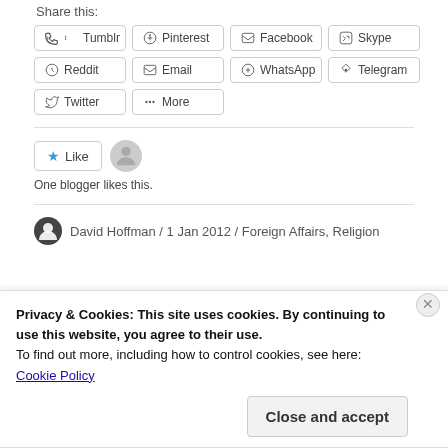Share this:
Tumblr  Pinterest  Facebook  Skype  Reddit  Email  WhatsApp  Telegram  Twitter  More
[Figure (other): Like button widget with star icon and avatar placeholder]
One blogger likes this.
David Hoffman / 1 Jan 2012 / Foreign Affairs, Religion
Privacy & Cookies: This site uses cookies. By continuing to use this website, you agree to their use.
To find out more, including how to control cookies, see here:
Cookie Policy
Close and accept